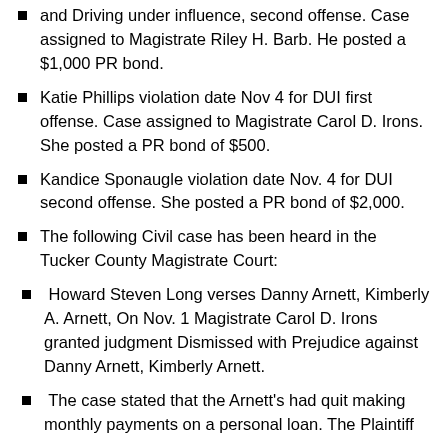and Driving under influence, second offense.  Case assigned to Magistrate Riley H. Barb.  He posted a $1,000 PR bond.
Katie Phillips violation date Nov 4 for DUI first offense.  Case assigned to Magistrate Carol D. Irons.  She posted a PR bond of $500.
Kandice Sponaugle violation date Nov. 4 for DUI second offense.  She posted a PR bond of $2,000.
The following Civil case has been heard in the Tucker County Magistrate Court:
Howard Steven Long verses Danny Arnett, Kimberly A. Arnett, On Nov. 1 Magistrate Carol D. Irons granted judgment Dismissed with Prejudice against Danny Arnett, Kimberly Arnett.
The case stated that the Arnett's had quit making monthly payments on a personal loan.  The Plaintiff